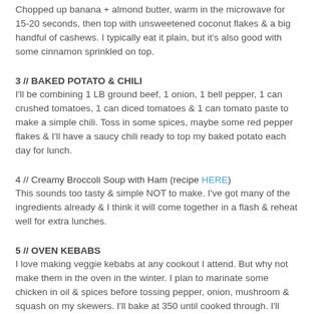Chopped up banana + almond butter, warm in the microwave for 15-20 seconds, then top with unsweetened coconut flakes & a big handful of cashews. I typically eat it plain, but it's also good with some cinnamon sprinkled on top.
3 // BAKED POTATO & CHILI
I'll be combining 1 LB ground beef, 1 onion, 1 bell pepper, 1 can crushed tomatoes, 1 can diced tomatoes & 1 can tomato paste to make a simple chili. Toss in some spices, maybe some red pepper flakes & I'll have a saucy chili ready to top my baked potato each day for lunch.
4 // Creamy Broccoli Soup with Ham (recipe HERE)
This sounds too tasty & simple NOT to make. I've got many of the ingredients already & I think it will come together in a flash & reheat well for extra lunches.
5 // OVEN KEBABS
I love making veggie kebabs at any cookout I attend. But why not make them in the oven in the winter. I plan to marinate some chicken in oil & spices before tossing pepper, onion, mushroom & squash on my skewers. I'll bake at 350 until cooked through. I'll bake up a side of roasted sweet potatoes & it'll be just like a cookout.